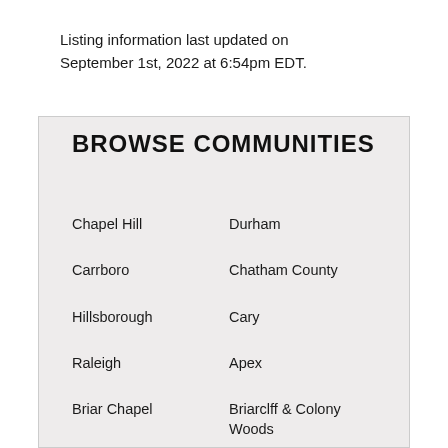Listing information last updated on September 1st, 2022 at 6:54pm EDT.
BROWSE COMMUNITIES
Chapel Hill
Durham
Carrboro
Chatham County
Hillsborough
Cary
Raleigh
Apex
Briar Chapel
Briarclff & Colony Woods
Chancellors Ridge
Churton Grove